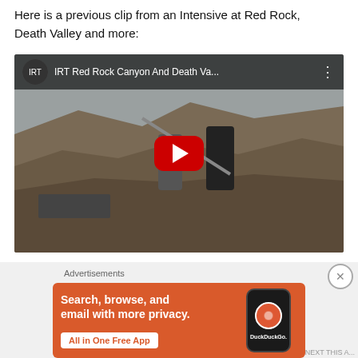Here is a previous clip from an Intensive at Red Rock, Death Valley and more:
[Figure (screenshot): YouTube video thumbnail showing two people practicing martial arts / stick fighting on a hilltop in a desert landscape. Video title: 'IRT Red Rock Canyon And Death Va...' with a red play button in the center.]
[Figure (screenshot): DuckDuckGo advertisement banner with orange background. Text: 'Search, browse, and email with more privacy. All in One Free App' with DuckDuckGo logo and phone mockup on the right.]
Advertisements